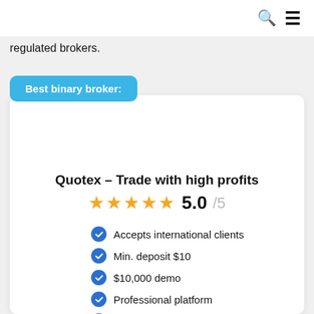🔍 ≡
regulated brokers.
Best binary broker:
Quotex – Trade with high profits
5.0 / 5
Accepts international clients
Min. deposit $10
$10,000 demo
Professional platform
High profit up to 95%
Fast withdrawals